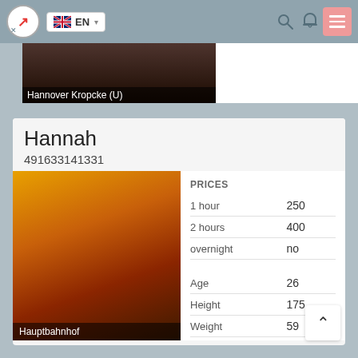EN
[Figure (screenshot): Top partial image strip showing 'Hannover Kropcke (U)' label on a dark photo]
Hannah
491633141331
[Figure (photo): Photo of a young blonde woman against golden/orange curtain background, location label: Hauptbahnhof]
|  |  |
| --- | --- |
| PRICES |  |
| 1 hour | 250 |
| 2 hours | 400 |
| overnight | no |
|  |  |
| Age | 26 |
| Height | 175 |
| Weight | 59 |
| Breast | 2 |